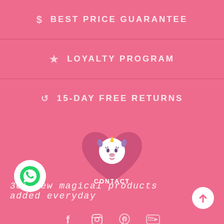$ BEST PRICE GUARANTEE
★ LOYALTY PROGRAM
↺ 15-DAY FREE RETURNS
[Figure (infographic): Pink heart shape with unicorn mascot icon on top and CONTACT label inside. WhatsApp green circle icon on bottom left. Up arrow white circle on bottom right.]
30+ new magical products added everyday
[Figure (infographic): Social media icons row: Facebook, Instagram, Pinterest, YouTube]